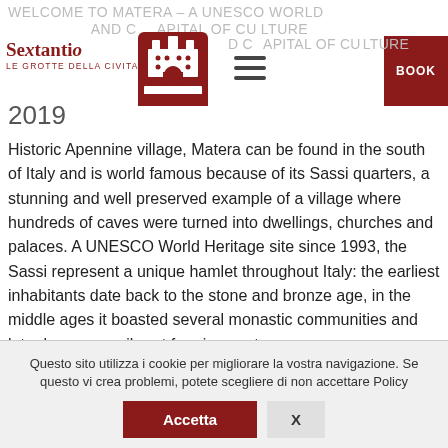WELCOME TO MATERA – A UNESCO WORLD AND CAPITAL OF CULTURE 2019
[Figure (logo): Sextantio Le Grotte della Civita logo with red heraldic crest/tower emblem]
Historic Apennine village, Matera can be found in the south of Italy and is world famous because of its Sassi quarters, a stunning and well preserved example of a village where hundreds of caves were turned into dwellings, churches and palaces. A UNESCO World Heritage site since 1993, the Sassi represent a unique hamlet throughout Italy: the earliest inhabitants date back to the stone and bronze age, in the middle ages it boasted several monastic communities and later became a vibrant farming centre.
Questo sito utilizza i cookie per migliorare la vostra navigazione. Se questo vi crea problemi, potete scegliere di non accettare Policy
Accetta   X